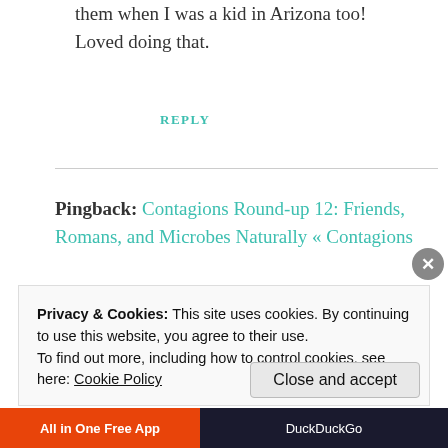We tied thread on them and flew them when I was a kid in Arizona too! Loved doing that.
REPLY
Pingback: Contagions Round-up 12: Friends, Romans, and Microbes Naturally « Contagions
Privacy & Cookies: This site uses cookies. By continuing to use this website, you agree to their use. To find out more, including how to control cookies, see here: Cookie Policy
Close and accept